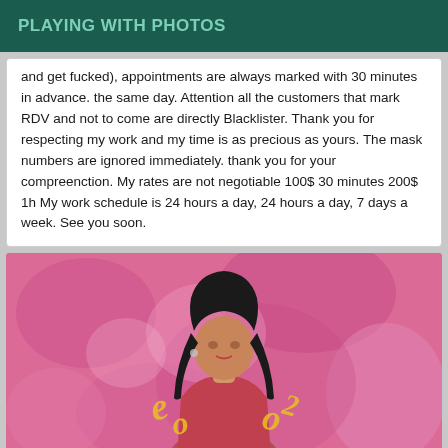PLAYING WITH PHOTOS
and get fucked), appointments are always marked with 30 minutes in advance. the same day. Attention all the customers that mark RDV and not to come are directly Blacklister. Thank you for respecting my work and my time is as precious as yours. The mask numbers are ignored immediately. thank you for your compreenction. My rates are not negotiable 100$ 30 minutes 200$ 1h My work schedule is 24 hours a day, 24 hours a day, 7 days a week. See you soon.
[Figure (photo): A woman with long dark hair against a pink fluffy background, with yellow decorative text overlay]